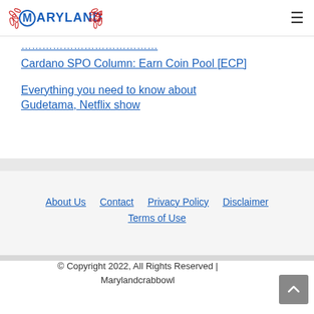Maryland Crab Bowl
Cardano SPO Column: Earn Coin Pool [ECP]
Everything you need to know about Gudetama, Netflix show
About Us | Contact | Privacy Policy | Disclaimer | Terms of Use
© Copyright 2022, All Rights Reserved | Marylandcrabbowl